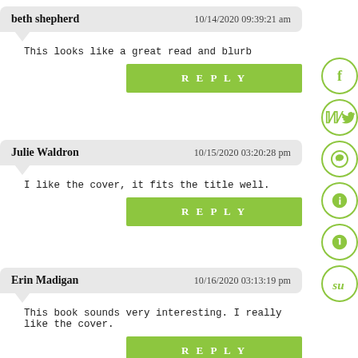beth shepherd — 10/14/2020 09:39:21 am
This looks like a great read and blurb
REPLY
Julie Waldron — 10/15/2020 03:20:28 pm
I like the cover, it fits the title well.
REPLY
Erin Madigan — 10/16/2020 03:13:19 pm
This book sounds very interesting. I really like the cover.
REPLY